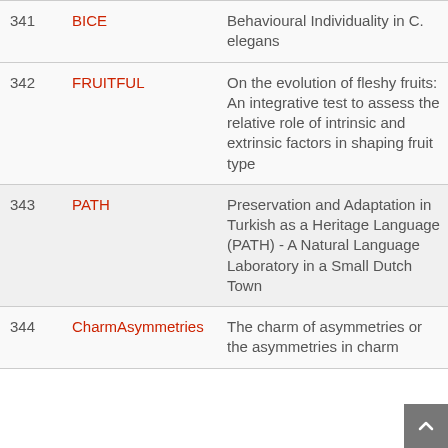| # | Acronym | Title |
| --- | --- | --- |
| 341 | BICE | Behavioural Individuality in C. elegans |
| 342 | FRUITFUL | On the evolution of fleshy fruits: An integrative test to assess the relative role of intrinsic and extrinsic factors in shaping fruit type |
| 343 | PATH | Preservation and Adaptation in Turkish as a Heritage Language (PATH) - A Natural Language Laboratory in a Small Dutch Town |
| 344 | CharmAsymmetries | The charm of asymmetries or the asymmetries in charm |